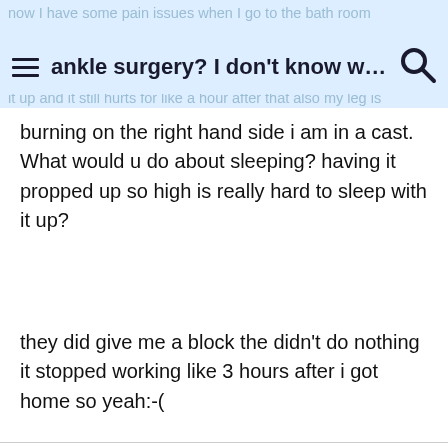ankle surgery? I don't know wh...
burning on the right hand side i am in a cast. What would u do about sleeping? having it propped up so high is really hard to sleep with it up?
they did give me a block the didn't do nothing it stopped working like 3 hours after i got home so yeah:-(